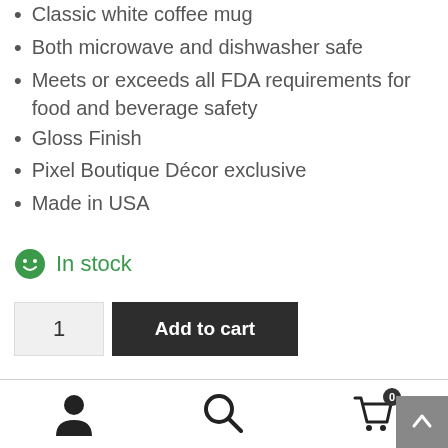Classic white coffee mug
Both microwave and dishwasher safe
Meets or exceeds all FDA requirements for food and beverage safety
Gloss Finish
Pixel Boutique Décor exclusive
Made in USA
In stock
1  Add to cart
SKU: MUG11IDC  Category: Mugs  Tags: coffee, dad,
user icon | search icon | cart 0 | back to top